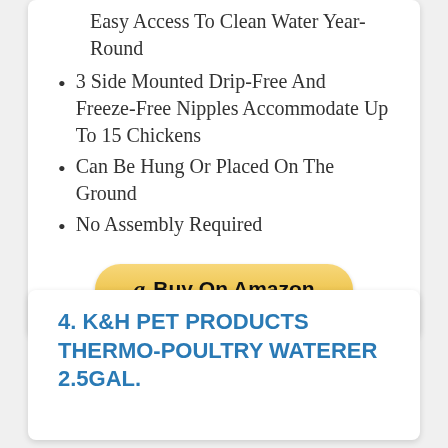Easy Access To Clean Water Year-Round
3 Side Mounted Drip-Free And Freeze-Free Nipples Accommodate Up To 15 Chickens
Can Be Hung Or Placed On The Ground
No Assembly Required
[Figure (other): Buy On Amazon button with Amazon logo]
4. K&H PET PRODUCTS THERMO-POULTRY WATERER 2.5GAL.